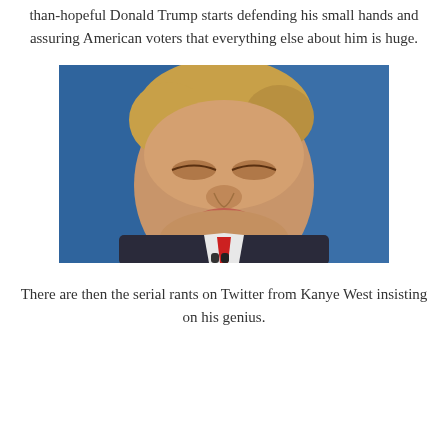than-hopeful Donald Trump starts defending his small hands and assuring American voters that everything else about him is huge.
[Figure (photo): Close-up photo of Donald Trump at a debate podium with eyes closed and lips pursed, microphone visible at bottom, blue background.]
There are then the serial rants on Twitter from Kanye West insisting on his genius.